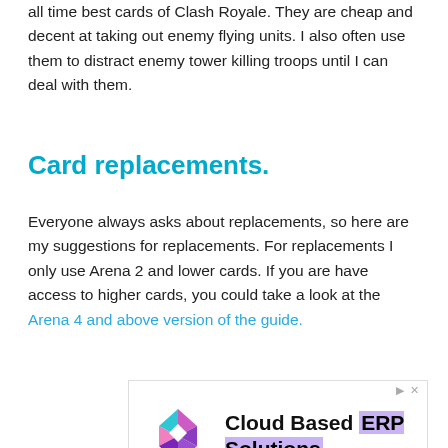all time best cards of Clash Royale. They are cheap and decent at taking out enemy flying units. I also often use them to distract enemy tower killing troops until I can deal with them.
Card replacements.
Everyone always asks about replacements, so here are my suggestions for replacements. For replacements I only use Arena 2 and lower cards. If you are have access to higher cards, you could take a look at the Arena 4 and above version of the guide.
[Figure (other): Advertisement banner for Cloud Based ERP Solutions with logo, title text highlighted in purple, description text, and Cloud ERP Solutions link]